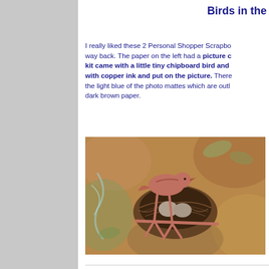Birds in the
I really liked these 2 Personal Shopper Scrapbo... way back. The paper on the left had a picture c... kit came with a little tiny chipboard bird and ... with copper ink and put on the picture. There... the light blue of the photo mattes which are outl... dark brown paper.
[Figure (photo): A photograph of a bird's nest with eggs, with a copper-colored chipboard bird embellishment placed on top of the nest, set against a scrapbook paper background with earth tones.]